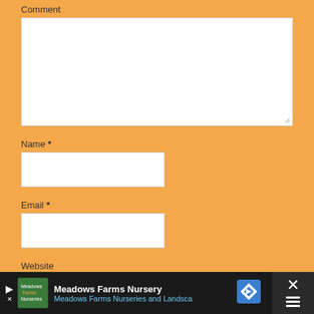Comment
[Figure (screenshot): Empty comment textarea input field with resize handle]
Name *
[Figure (screenshot): Empty name text input field]
Email *
[Figure (screenshot): Empty email text input field]
Website
[Figure (screenshot): Partial website text input field at page bottom]
[Figure (screenshot): Advertisement bar at bottom: Meadows Farms Nursery ad with logo, play button, subtitle 'Meadows Farms Nurseries and Landsca' and close button]